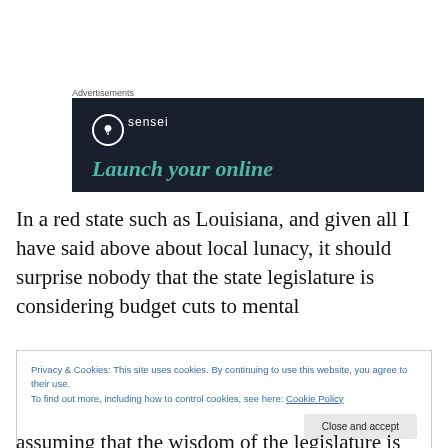Advertisements
[Figure (illustration): Sensei advertisement banner with dark navy background showing tree logo, 'sensei' brand name, and 'Launch your online' tagline in teal italic text]
In a red state such as Louisiana, and given all I have said above about local lunacy, it should surprise nobody that the state legislature is considering budget cuts to mental
Privacy & Cookies: This site uses cookies. By continuing to use this website, you agree to their use.
To find out more, including how to control cookies, see here: Cookie Policy
[Close and accept]
assuming that the wisdom of the legislature is not to